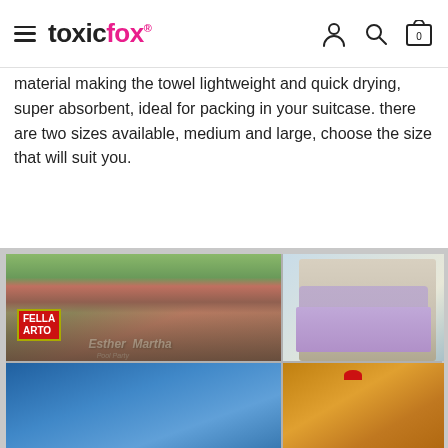toxicfox® (navigation header with hamburger menu, logo, account icon, search icon, cart icon showing 0)
material making the towel lightweight and quick drying, super absorbent, ideal for packing in your suitcase. there are two sizes available, medium and large, choose the size that will suit you.
[Figure (photo): Photo collage showing personalized beach towels. Main large left image: a man and two women holding custom towels with names 'Fella Arto', 'Esther' and 'Martha' with Pool Party text, standing in front of pink flowering bushes. Top right: a woman in white swimwear sitting poolside on a purple character-print towel. Bottom right: a child with a red bow sitting on a gold/patterned towel.]